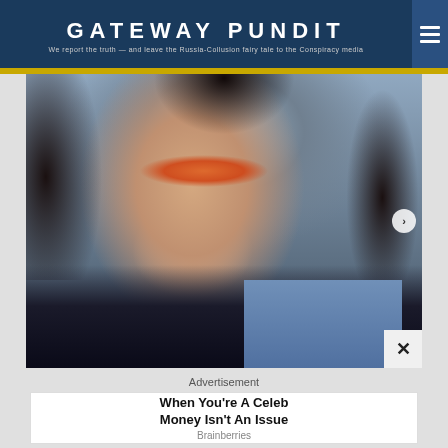GATEWAY PUNDIT — We report the truth — and leave the Russia-Collusion fairy tale to the Conspiracy media
[Figure (photo): Selfie photo of a young woman with dark hair, orange eye makeup, and a bright smile, wearing a dark jacket over a blue shirt]
Advertisement
When You're A Celeb Money Isn't An Issue
Brainberries